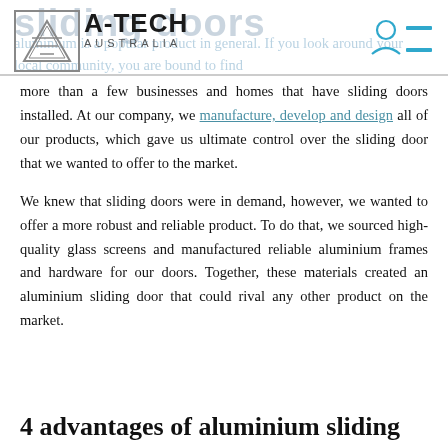sliding doors
[Figure (logo): A-Tech Australia logo with triangular A symbol inside a bordered box, with person/menu navigation icon top right]
more than a few businesses and homes that have sliding doors installed. At our company, we manufacture, develop and design all of our products, which gave us ultimate control over the sliding door that we wanted to offer to the market.
We knew that sliding doors were in demand, however, we wanted to offer a more robust and reliable product. To do that, we sourced high-quality glass screens and manufactured reliable aluminium frames and hardware for our doors. Together, these materials created an aluminium sliding door that could rival any other product on the market.
4 advantages of aluminium sliding